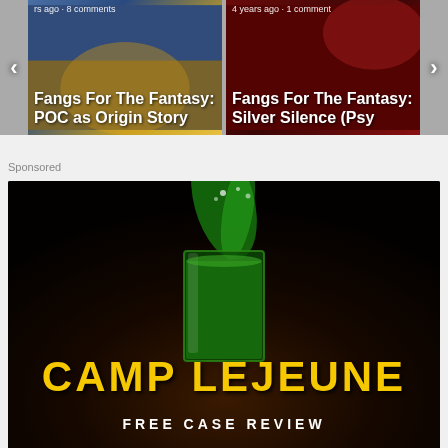[Figure (screenshot): Carousel of two article cards: left card 'Fangs For The Fantasy: POC as Origin Story' (years ago, 8 comments), right card 'Fangs For The Fantasy: Silver Silence (Psy' (4 years ago, 1 comment), with left and right navigation arrows]
Sponsored
[Figure (photo): Camp Lejeune advertisement banner: dark background with a glass of green liquid being poured into it, large yellow distressed text 'CAMP LEJEUNE' and white text 'FREE CASE REVIEW' below]